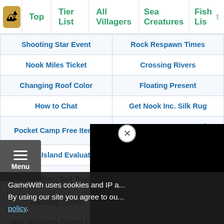🏕 Top | Tier List | All Villagers | Sea Creatures | Fish List
| Shooting Star Event | Rock Respawn Times |
| Nook Miles Ticket | Crossing Rivers |
| Changing Roof Color | Floating Present |
| How to Chat | Get Nook Inc. Silk Rug |
| Pocket Camp Free Items | How To Get To Tarantula Island |
| Improve Island Evaluation | Increasing Inventory Space |
| How To Buy / Sell Turnips | How to Create Multiple Accounts |
| Glowing Spots | Terraforming Guide |
| How To Check Friend Code | Can You Move Buildings? |
| Tree & Fruit Respawn |  |
| House Customization & Storage |  |
GameWith uses cookies and IP a... By using our site you agree to our... policy.